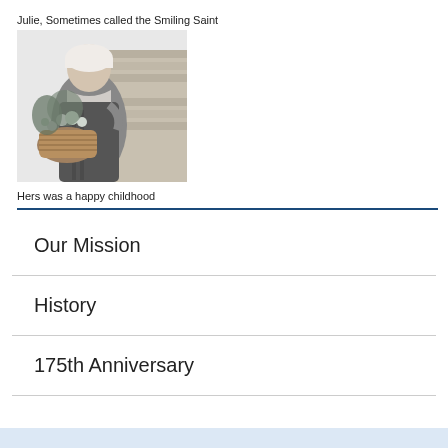[Figure (illustration): Black and white illustration of a young woman in historical dress carrying a large basket of flowers, standing near a stone wall]
Hers was a happy childhood
Our Mission
History
175th Anniversary